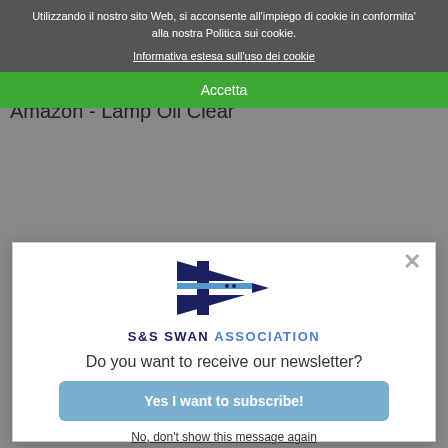Utilizzando il nostro sito Web, si acconsente all'impiego di cookie in conformita' alla nostra Politica sui cookie.
Informativa estesa sull'uso dei cookie
Accetta
Amazon - Lamp Oil Clear
[Figure (logo): S&S Swan Association pennant logo — blue and white triangular burgee flag with a horizontal white stripe and blue cross]
S&S SWAN ASSOCIATION
Do you want to receive our newsletter?
Yes I want to subscribe!
No, don't show this message again